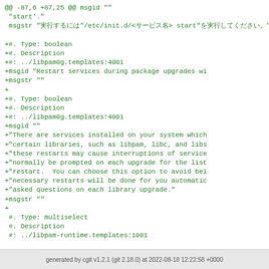@@ -87,6 +87,25 @@ msgid ""
 "start'."
 msgstr "実行するには"/etc/init.d/<サービス名> start"を実行してください。"

+#. Type: boolean
+#. Description
+#: ../libpam0g.templates:4001
+msgid "Restart services during package upgrades wi
+msgstr ""
+
+#. Type: boolean
+#. Description
+#: ../libpam0g.templates:4001
+msgid ""
+"There are services installed on your system which
+"certain libraries, such as libpam, libc, and libs
+"these restarts may cause interruptions of service
+"normally be prompted on each upgrade for the list
+"restart.  You can choose this option to avoid bei
+"necessary restarts will be done for you automatic
+"asked questions on each library upgrade."
+msgstr ""
+
 #. Type: multiselect
 #. Description
 #: ../libpam-runtime.templates:1001
generated by cgit v1.2.1 (git 2.18.0) at 2022-08-18 12:22:58 +0000